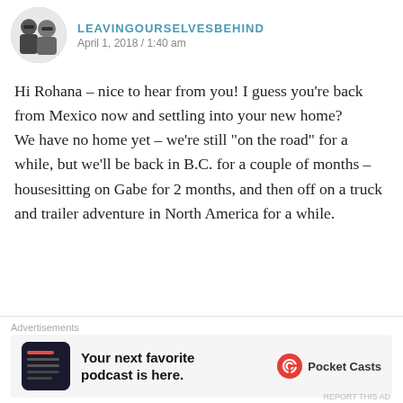[Figure (photo): Avatar photo of two people in sunglasses, black and white, circular crop]
LEAVINGOURSELVESBEHIND
April 1, 2018 / 1:40 am
Hi Rohana – nice to hear from you! I guess you’re back from Mexico now and settling into your new home?
We have no home yet – we’re still “on the road” for a while, but we’ll be back in B.C. for a couple of months – housesitting on Gabe for 2 months, and then off on a truck and trailer adventure in North America for a while.
Like
Advertisements
[Figure (screenshot): Pocket Casts advertisement banner: app icon on dark background, text 'Your next favorite podcast is here.' with Pocket Casts logo]